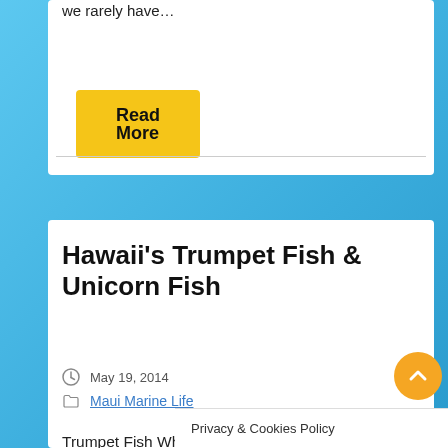we rarely have…
Read More
Hawaii's Trumpet Fish & Unicorn Fish
May 19, 2014
Maui Marine Life
Trumpet Fish Whether we realize it or not, the fishes in Hawaii (and elsewhere, worldwide) are quite remarkable. The Trumpet fish definitely n…
Privacy & Cookies Policy